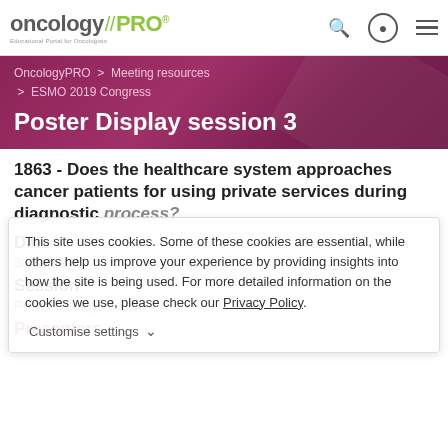oncology//PRO® — Educational Portal for Oncologists | Search | User | Menu
[Figure (logo): OncologyPRO logo with green slashes and registration mark]
OncologyPRO > Meeting resources > ESMO 2019 Congress
Poster Display session 3
1863 - Does the healthcare system approaches cancer patients for using private services during diagnostic process?
This site uses cookies. Some of these cookies are essential, while others help us improve your experience by providing insights into how the site is being used. For more detailed information on the cookies we use, please check our Privacy Policy.
Date
30 Sep 2019
Session
Poster Display session 3
Customise settings
Presenters